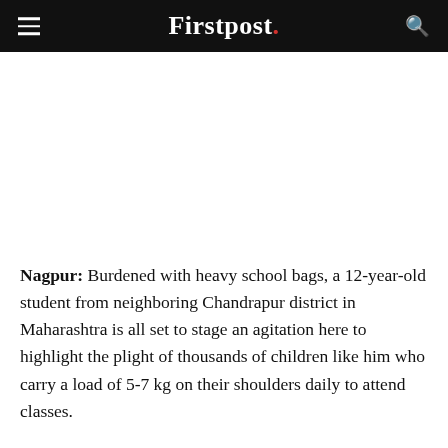Firstpost.
[Figure (photo): Large image area (white/blank) below the header navigation bar]
Nagpur: Burdened with heavy school bags, a 12-year-old student from neighboring Chandrapur district in Maharashtra is all set to stage an agitation here to highlight the plight of thousands of children like him who carry a load of 5-7 kg on their shoulders daily to attend classes.
Rugved Raikwar from Vidyaniketan School will be holding a sit-